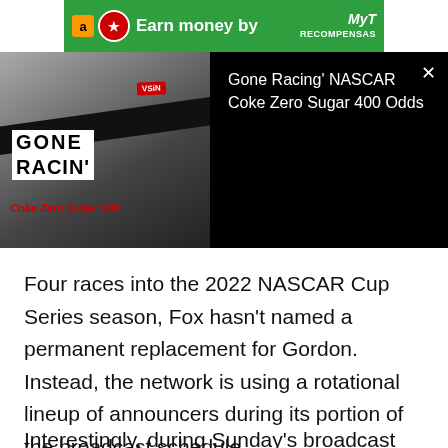[Figure (screenshot): Green advertisement banner with Amazon icon, circular logo, text 'Earn money by' and 'MyRecompensas' logo on the right]
[Figure (screenshot): Video overlay showing a Gone Racin' Coke Zero Sugar 400 thumbnail on black background with VSiN branding, and the video title 'Gone Racing' NASCAR Coke Zero Sugar 400 Odds' with close button]
Four races into the 2022 NASCAR Cup Series season, Fox hasn't named a permanent replacement for Gordon. Instead, the network is using a rotational lineup of announcers during its portion of the broadcast schedule.
Interestingly, during Sunday's broadcast from